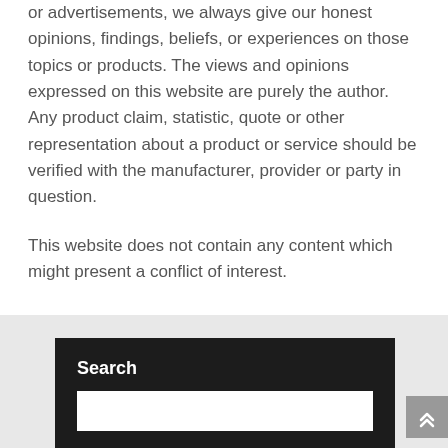or advertisements, we always give our honest opinions, findings, beliefs, or experiences on those topics or products. The views and opinions expressed on this website are purely the author. Any product claim, statistic, quote or other representation about a product or service should be verified with the manufacturer, provider or party in question.
This website does not contain any content which might present a conflict of interest.
Search